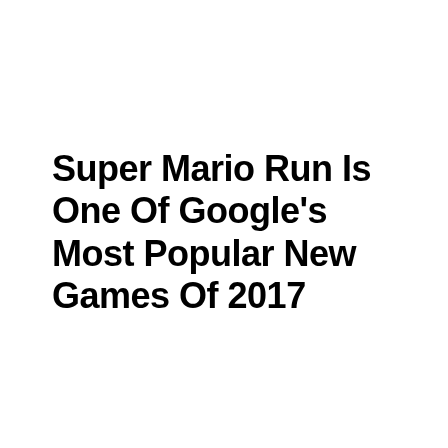Super Mario Run Is One Of Google’s Most Popular New Games Of 2017